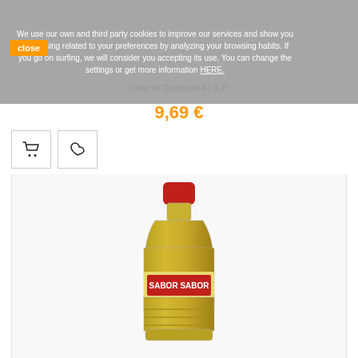We use our own and third party cookies to improve our services and show you advertising related to your preferences by analyzing your browsing habits. If you go on surfing, we will consider you accepting its use. You can change the settings or get more information HERE.
close
Olive oil Carbonell FI 0,4°
9,69 €
[Figure (photo): A bottle of Sabor Sabor olive oil with a red cap and yellow/green oil inside, on a white background]